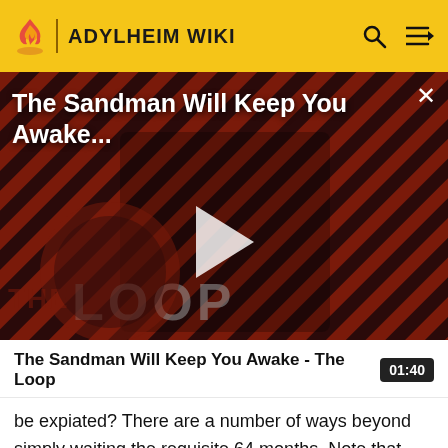ADYLHEIM WIKI
[Figure (screenshot): Video thumbnail for 'The Sandman Will Keep You Awake - The Loop' showing a dark-cloaked figure against a red and black diagonal striped background, with 'THE LOOP' text visible at the bottom, a play button in the center, and the video title text at the top.]
The Sandman Will Keep You Awake - The Loop
be expiated? There are a number of ways beyond simply waiting the requisite 64 months. Note that, although uncommon for most dragonkin, it is possible to undertake